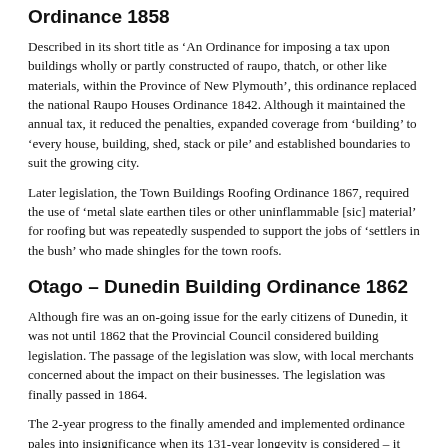Ordinance 1858
Described in its short title as ‘An Ordinance for imposing a tax upon buildings wholly or partly constructed of raupo, thatch, or other like materials, within the Province of New Plymouth’, this ordinance replaced the national Raupo Houses Ordinance 1842. Although it maintained the annual tax, it reduced the penalties, expanded coverage from ‘building’ to ‘every house, building, shed, stack or pile’ and established boundaries to suit the growing city.
Later legislation, the Town Buildings Roofing Ordinance 1867, required the use of ‘metal slate earthen tiles or other uninflammable [sic] material’ for roofing but was repeatedly suspended to support the jobs of ‘settlers in the bush’ who made shingles for the town roofs.
Otago – Dunedin Building Ordinance 1862
Although fire was an on-going issue for the early citizens of Dunedin, it was not until 1862 that the Provincial Council considered building legislation. The passage of the legislation was slow, with local merchants concerned about the impact on their businesses. The legislation was finally passed in 1864.
The 2-year progress to the finally amended and implemented ordinance pales into insignificance when its 131-year longevity is considered – it was not finally repealed until the passing of the Building Amendment Act 1993.
Canterbury – Christchurch Fire Prevention